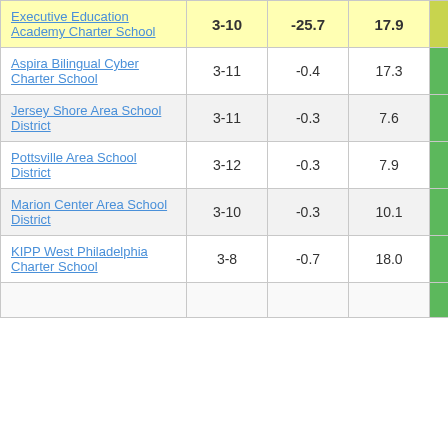| School/District | Grades | Col3 | Col4 | Score |
| --- | --- | --- | --- | --- |
| Executive Education Academy Charter School | 3-10 | -25.7 | 17.9 | -1.43 |
| Aspira Bilingual Cyber Charter School | 3-11 | -0.4 | 17.3 | -0.02 |
| Jersey Shore Area School District | 3-11 | -0.3 | 7.6 | -0.03 |
| Pottsville Area School District | 3-12 | -0.3 | 7.9 | -0.03 |
| Marion Center Area School District | 3-10 | -0.3 | 10.1 | -0.03 |
| KIPP West Philadelphia Charter School | 3-8 | -0.7 | 18.0 | -0.03 |